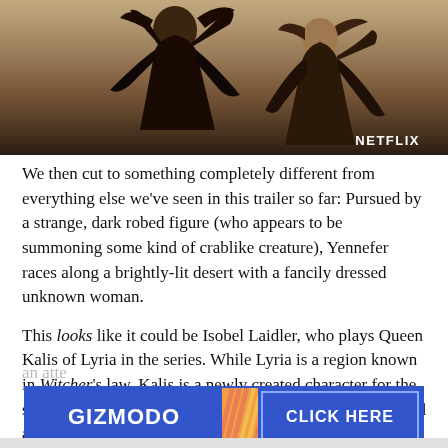[Figure (photo): Two figures in dark robes against a sandy/desert background, with a NETFLIX watermark in the bottom right corner]
We then cut to something completely different from everything else we've seen in this trailer so far: Pursued by a strange, dark robed figure (who appears to be summoning some kind of crablike creature), Yennefer races along a brightly-lit desert with a fancily dressed unknown woman.
This looks like it could be Isobel Laidler, who plays Queen Kalis of Lyria in the series. While Lyria is a region known in Witcher's law, Kalis is a newly created character for the show. We've seen her in several environments being chased alongside Yennefer like this in both the first trailer and this one; given the seemingly rapid switches in environment, is Yennefer magically teleporting them to different places in an atte
[Figure (other): Gizmodo advertisement banner with blue background on left showing GIZMODO text, orange diagonal striped middle section, and blue right section showing CLICK HERE text]